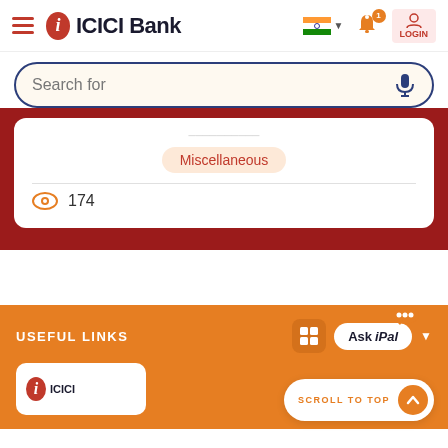[Figure (logo): ICICI Bank header with hamburger menu, logo, Indian flag, notification bell with badge, and login button]
[Figure (screenshot): Search bar with 'Search for' placeholder text and microphone icon]
Miscellaneous
174
USEFUL LINKS
[Figure (screenshot): ICICI Bank footer white card partially visible, scroll to top button, Ask iPal chatbot button]